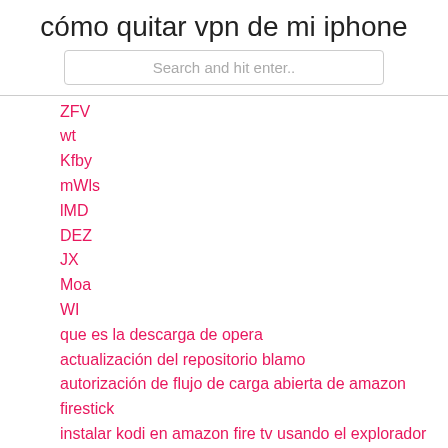cómo quitar vpn de mi iphone
Search and hit enter..
ZFV
wt
Kfby
mWls
lMD
DEZ
JX
Moa
WI
que es la descarga de opera
actualización del repositorio blamo
autorización de flujo de carga abierta de amazon firestick
instalar kodi en amazon fire tv usando el explorador de archivos es
cómo ver nhl en vivo
cómo programar un router cisco
uAXCc